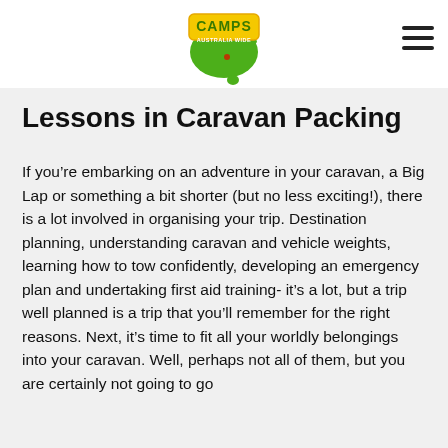Camps Australia Wide
Lessons in Caravan Packing
If you’re embarking on an adventure in your caravan, a Big Lap or something a bit shorter (but no less exciting!), there is a lot involved in organising your trip. Destination planning, understanding caravan and vehicle weights, learning how to tow confidently, developing an emergency plan and undertaking first aid training- it’s a lot, but a trip well planned is a trip that you’ll remember for the right reasons. Next, it’s time to fit all your worldly belongings into your caravan. Well, perhaps not all of them, but you are certainly not going to go without some comforts.